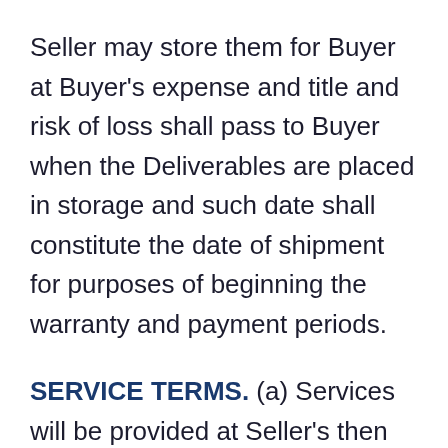Seller may store them for Buyer at Buyer's expense and title and risk of loss shall pass to Buyer when the Deliverables are placed in storage and such date shall constitute the date of shipment for purposes of beginning the warranty and payment periods.
SERVICE TERMS. (a) Services will be provided at Seller's then current service rates; (b) If the site is not prepared for the Services upon Seller's arrival, Seller may